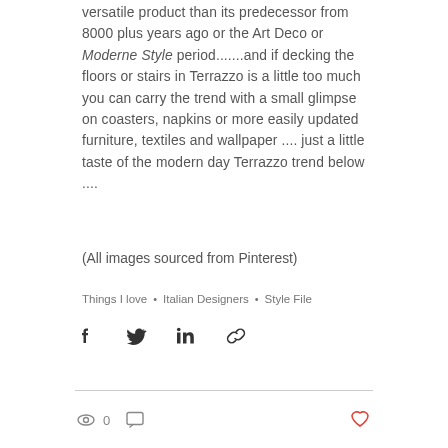versatile product than its predecessor from 8000 plus years ago or the Art Deco or Moderne Style period.......and if decking the floors or stairs in Terrazzo is a little too much you can carry the trend with a small glimpse on coasters, napkins or more easily updated furniture, textiles and wallpaper .... just a little taste of the modern day Terrazzo trend below ....
(All images sourced from Pinterest)
Things I love  •  Italian Designers  •  Style File
[Figure (infographic): Social share icons: Facebook, Twitter, LinkedIn, Link]
[Figure (infographic): Stats row with eye/view icon showing 0 views, comment icon, and a red heart/like button on the right]